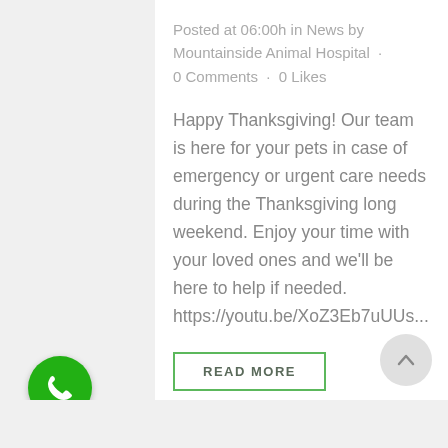Posted at 06:00h in News by Mountainside Animal Hospital · 0 Comments · 0 Likes
Happy Thanksgiving! Our team is here for your pets in case of emergency or urgent care needs during the Thanksgiving long weekend. Enjoy your time with your loved ones and we'll be here to help if needed. https://youtu.be/XoZ3Eb7uUUs...
READ MORE